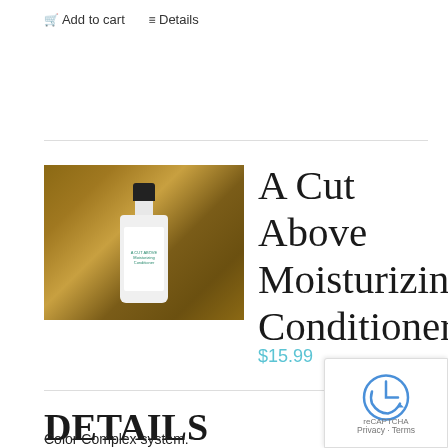🛒 Add to cart   ≡ Details
[Figure (photo): Product photo of A Cut Above Moisturizing Conditioner bottle (white bottle with black cap) against a wooden background]
A Cut Above Moisturizing Conditioner
$15.99
DETAILS
Color Complex system.